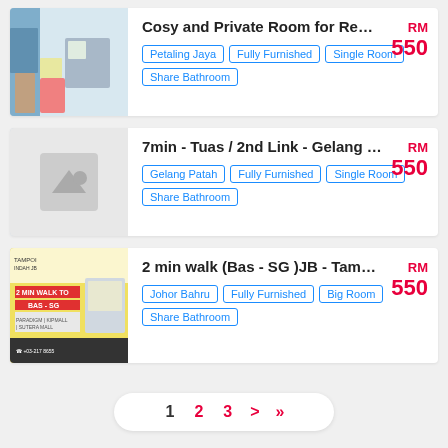[Figure (photo): Room photo showing a desk, chair, curtains and storage box]
Cosy and Private Room for Rent i...
Petaling Jaya | Fully Furnished | Single Room | Share Bathroom
RM 550
[Figure (photo): No image placeholder with mountain/image icon]
7min - Tuas / 2nd Link - Gelang Pa...
Gelang Patah | Fully Furnished | Single Room | Share Bathroom
RM 550
[Figure (photo): Room listing photo with yellow bed and advertisement text overlay]
2 min walk (Bas - SG )JB - Tampoi ...
Johor Bahru | Fully Furnished | Big Room | Share Bathroom
RM 550
1  2  3  >  >>